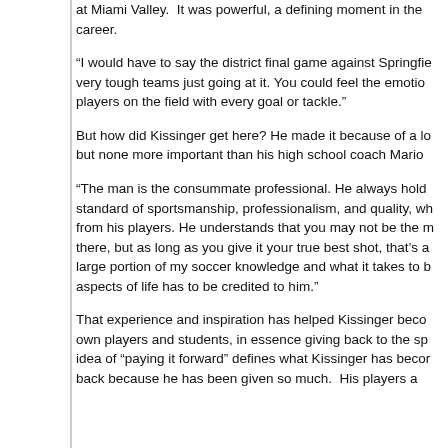at Miami Valley.  It was powerful, a defining moment in the career.
“I would have to say the district final game against Springfie… very tough teams just going at it. You could feel the emotio… players on the field with every goal or tackle.”
But how did Kissinger get here? He made it because of a lo… but none more important than his high school coach Mario…
“The man is the consummate professional. He always hold… standard of sportsmanship, professionalism, and quality, wh… from his players. He understands that you may not be the r… there, but as long as you give it your true best shot, that’s a… large portion of my soccer knowledge and what it takes to b… aspects of life has to be credited to him.”
That experience and inspiration has helped Kissinger beco… own players and students, in essence giving back to the sp… idea of “paying it forward” defines what Kissinger has becor… back because he has been given so much.  His players a…